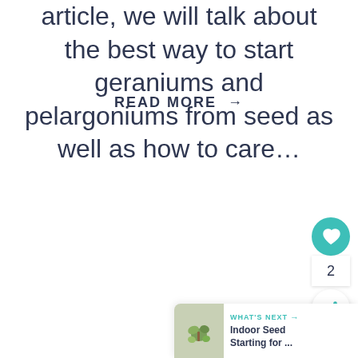article, we will talk about the best way to start geraniums and pelargoniums from seed as well as how to care…
READ MORE →
[Figure (infographic): Floating action buttons: teal heart/like button, count of 2, and a share button]
WHAT'S NEXT → Indoor Seed Starting for ...